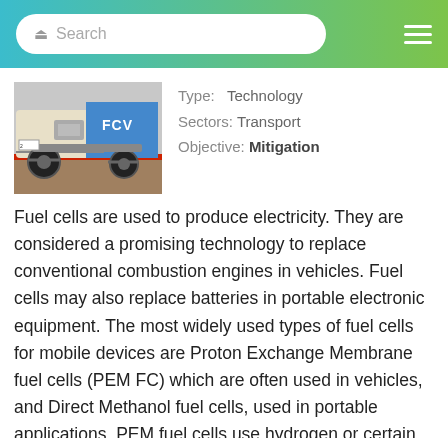Search
[Figure (photo): Photo of a fuel cell vehicle (FCV) chassis/undercarriage showing the drivetrain, with FCV text visible on the vehicle]
Type: Technology
Sectors: Transport
Objective: Mitigation
Fuel cells are used to produce electricity. They are considered a promising technology to replace conventional combustion engines in vehicles. Fuel cells may also replace batteries in portable electronic equipment. The most widely used types of fuel cells for mobile devices are Proton Exchange Membrane fuel cells (PEM FC) which are often used in vehicles, and Direct Methanol fuel cells, used in portable applications. PEM fuel cells use hydrogen or certain alcohols such as methanol as